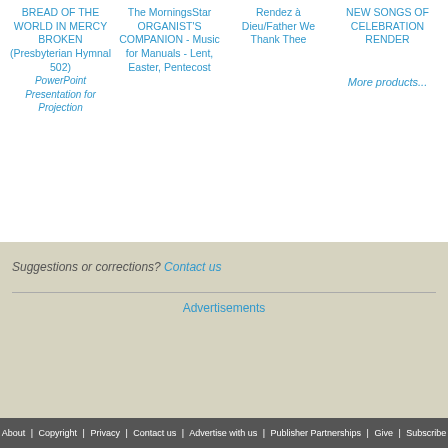BREAD OF THE WORLD IN MERCY BROKEN (Presbyterian Hymnal 502) PowerPoint Presentation for Projection
The MorningsStar ORGANIST'S COMPANION - Music for Manuals - Lent, Easter, Pentecost
Rendez à Dieu/Father We Thank Thee
NEW SONGS OF CELEBRATION RENDER
More products...
Suggestions or corrections? Contact us
Advertisements
About | Copyright | Privacy | Contact us | Advertise with us | Publisher Partnerships | Give | Subscribe